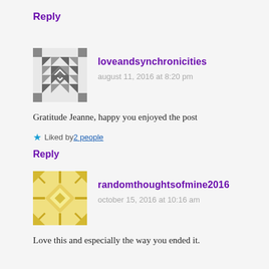Reply
[Figure (illustration): Gray geometric quilt-pattern avatar for loveandsynchronicities]
loveandsynchronicities
august 11, 2016 at 8:20 pm
Gratitude Jeanne, happy you enjoyed the post
Liked by 2 people
Reply
[Figure (illustration): Yellow geometric quilt-pattern avatar for randomthoughtsofmine2016]
randomthoughtsofmine2016
october 15, 2016 at 10:16 am
Love this and especially the way you ended it.